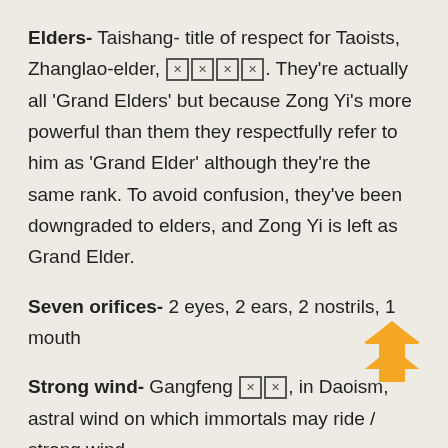Elders- Taishang- title of respect for Taoists, Zhanglao-elder, ☒☒☒☒. They're actually all 'Grand Elders' but because Zong Yi's more powerful than them they respectfully refer to him as 'Grand Elder' although they're the same rank. To avoid confusion, they've been downgraded to elders, and Zong Yi is left as Grand Elder.
Seven orifices- 2 eyes, 2 ears, 2 nostrils, 1 mouth
Strong wind- Gangfeng ☒☒, in Daoism, astral wind on which immortals may ride / strong wind.
The thousands of worlds etc. has to do with Buddhism, above my paygrade. Check these out if you